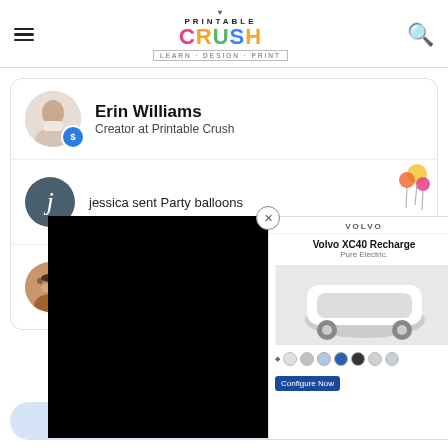Printable Crush — LEARN · DESIGN · PRINT
[Figure (screenshot): Printable Crush website screenshot showing creator profile and notifications with an ad overlay]
Erin Williams
Creator at Printable Crush
jessica sent Party balloons
Tara sent
for Thank Y...
Thank the creator